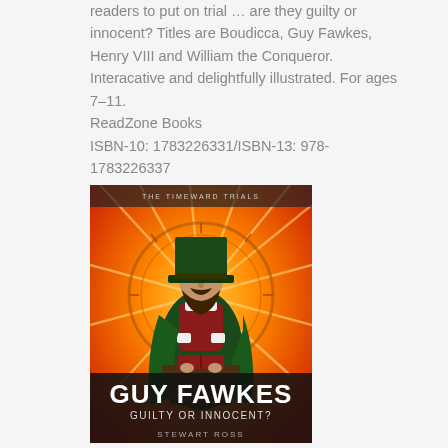readers to put on trial … are they guilty or innocent? Titles are Boudicca, Guy Fawkes, Henry VIII and William the Conqueror. Interacative and delightfully illustrated. For ages 7–11.
ReadZone Books
ISBN-10: 1783226331/ISBN-13: 978-1783226337
[Figure (photo): Book cover illustration for 'Guy Fawkes: Guilty or Innocent?' by Stewart Ross, part of The Timeward Trials series. Features a stylized illustration of Guy Fawkes wearing a dark green cloak and tall green hat, standing at a lectern against a dramatic orange radial background with a clock-like design. The title 'GUY FAWKES' is displayed in large white letters at the bottom, with 'GUILTY OR INNOCENT?' below, and 'STEWART ROSS' at the very bottom.]